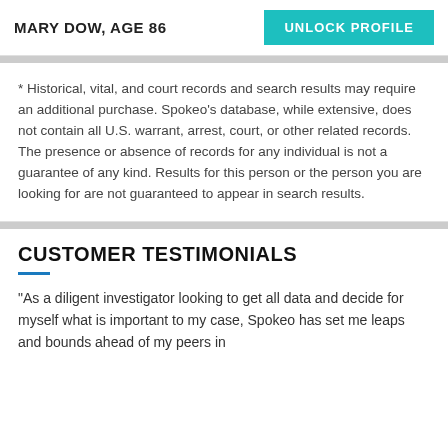MARY DOW, AGE 86
* Historical, vital, and court records and search results may require an additional purchase. Spokeo's database, while extensive, does not contain all U.S. warrant, arrest, court, or other related records. The presence or absence of records for any individual is not a guarantee of any kind. Results for this person or the person you are looking for are not guaranteed to appear in search results.
CUSTOMER TESTIMONIALS
“As a diligent investigator looking to get all data and decide for myself what is important to my case, Spokeo has set me leaps and bounds ahead of my peers in